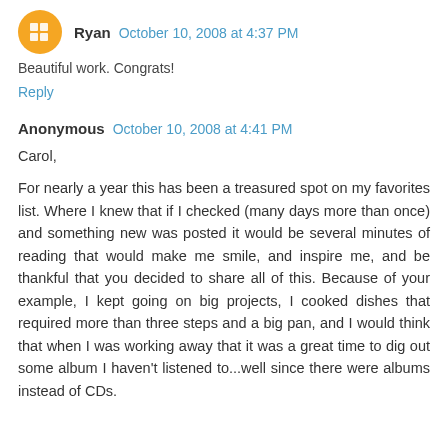Ryan  October 10, 2008 at 4:37 PM
Beautiful work. Congrats!
Reply
Anonymous  October 10, 2008 at 4:41 PM
Carol,

For nearly a year this has been a treasured spot on my favorites list. Where I knew that if I checked (many days more than once) and something new was posted it would be several minutes of reading that would make me smile, and inspire me, and be thankful that you decided to share all of this. Because of your example, I kept going on big projects, I cooked dishes that required more than three steps and a big pan, and I would think that when I was working away that it was a great time to dig out some album I haven't listened to...well since there were albums instead of CDs.